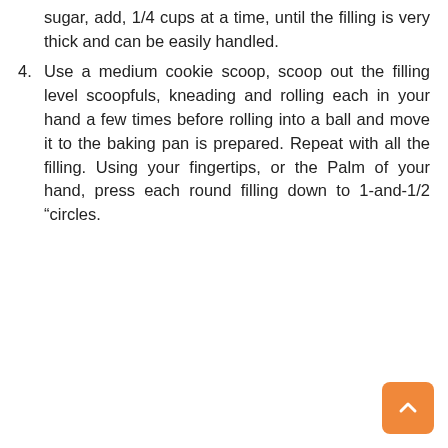sugar, add, 1/4 cups at a time, until the filling is very thick and can be easily handled.
4. Use a medium cookie scoop, scoop out the filling level scoopfuls, kneading and rolling each in your hand a few times before rolling into a ball and move it to the baking pan is prepared. Repeat with all the filling. Using your fingertips, or the Palm of your hand, press each round filling down to 1-and-1/2 “circles.